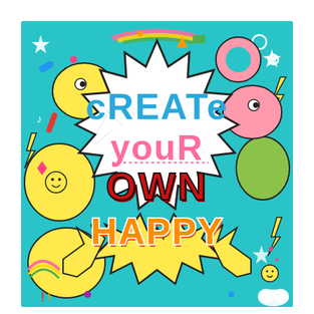[Figure (illustration): Colorful doodle art illustration with a teal/turquoise background filled with cartoon elements (stars, lightning bolts, rainbows, circles, eyes, hearts, donuts, smiley faces). In the center is a large white spiky speech bubble / starburst shape containing the motivational text 'cREATe youR OWN HAPPY' in mixed styles and colors: 'cREATe' in blue hand-lettered style, 'youR' in pink with underline, 'OWN' in bold red/dark outlined letters, and 'HAPPY' in orange bubble letters with white outlines. Yellow explosion/burst shapes are visible at the bottom.]